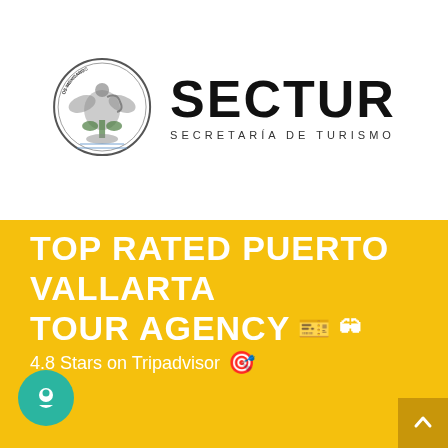[Figure (logo): SECTUR - Secretaría de Turismo logo with Mexican coat of arms seal on the left and SECTUR wordmark with 'SECRETARÍA DE TURISMO' subtitle on the right]
TOP RATED PUERTO VALLARTA TOUR AGENCY 🎫🕶️
4.8 Stars on Tripadvisor 🎯